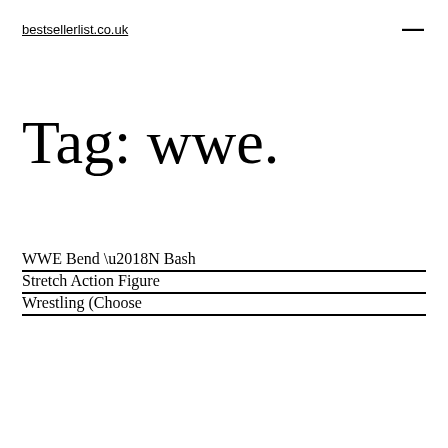bestsellerlist.co.uk
Tag: wwe.
WWE Bend ‘N Bash Stretch Action Figure Wrestling (Choose